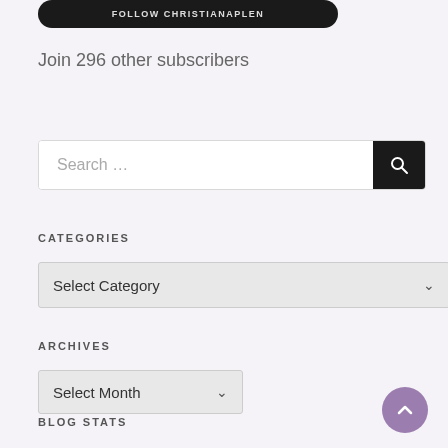[Figure (screenshot): Partially visible black rounded button at top of page with white uppercase text]
Join 296 other subscribers
[Figure (screenshot): Search bar with placeholder text 'Search ...' and a black search button with magnifying glass icon]
CATEGORIES
[Figure (screenshot): Dropdown select box labeled 'Select Category' with chevron arrow on right]
ARCHIVES
[Figure (screenshot): Dropdown select box labeled 'Select Month' with chevron arrow on right]
BLOG STATS
[Figure (screenshot): Purple circular scroll-to-top button with upward chevron arrow, bottom right corner]